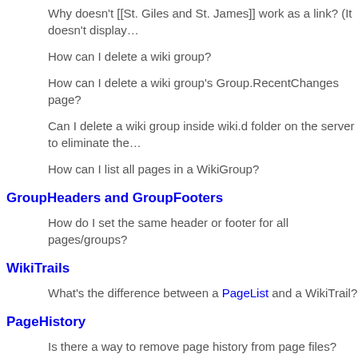Why doesn't [[St. Giles and St. James]] work as a link? (It doesn't display…
How can I delete a wiki group?
How can I delete a wiki group's Group.RecentChanges page?
Can I delete a wiki group inside wiki.d folder on the server to eliminate the…
How can I list all pages in a WikiGroup?
GroupHeaders and GroupFooters
How do I set the same header or footer for all pages/groups?
WikiTrails
What's the difference between a PageList and a WikiTrail?
PageHistory
Is there a way to remove page history from page files?
How can I restrict viewing the page history (?action=diff) to people…
Passwords
How can I password protect all the pages and groups on my site? Do I really need to set a password for each group?
I get http error 500 "Internal Server Error" when I try to log in. What's wrong…
How can I create private groups for users, so that each user can edit pages…